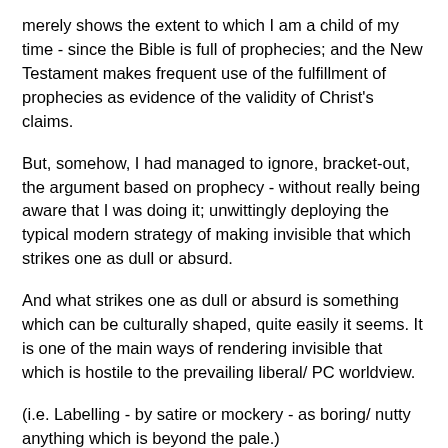merely shows the extent to which I am a child of my time - since the Bible is full of prophecies; and the New Testament makes frequent use of the fulfillment of prophecies as evidence of the validity of Christ's claims.
But, somehow, I had managed to ignore, bracket-out, the argument based on prophecy - without really being aware that I was doing it; unwittingly deploying the typical modern strategy of making invisible that which strikes one as dull or absurd.
And what strikes one as dull or absurd is something which can be culturally shaped, quite easily it seems. It is one of the main ways of rendering invisible that which is hostile to the prevailing liberal/ PC worldview.
(i.e. Labelling - by satire or mockery - as boring/ nutty anything which is beyond the pale.)
*
Anyway, this matter of prophecy is now revealed to me as